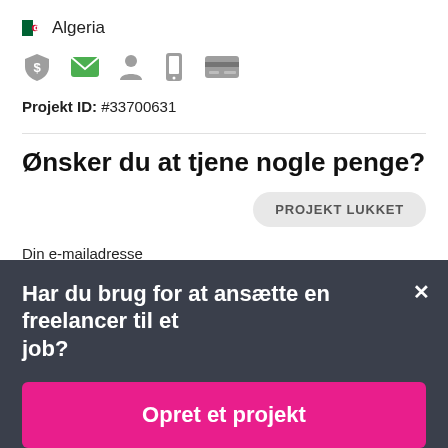Algeria
[Figure (infographic): Row of icons: shield with dollar sign, green envelope, person silhouette, phone, credit card]
Projekt ID: #33700631
Ønsker du at tjene nogle penge?
PROJEKT LUKKET
Din e-mailadresse
Har du brug for at ansætte en freelancer til et job?
Opret et projekt